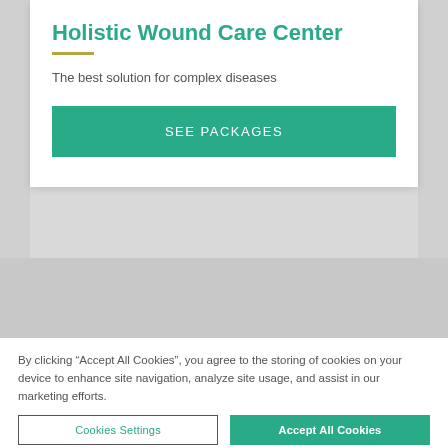Holistic Wound Care Center
The best solution for complex diseases
SEE PACKAGES
[Figure (photo): Blurred bokeh style medical/pharmaceutical image with circular light reflections in blue and white tones]
By clicking “Accept All Cookies”, you agree to the storing of cookies on your device to enhance site navigation, analyze site usage, and assist in our marketing efforts.
Cookies Settings
Accept All Cookies